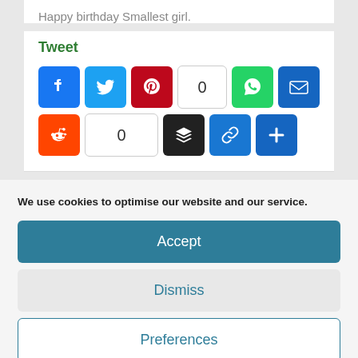Happy birthday Smallest girl.
Tweet
[Figure (screenshot): Row of social media share buttons: Facebook (blue), Twitter (blue), Pinterest (red), count box showing 0, WhatsApp (green), Email (dark blue). Second row: Reddit (orange), count box showing 0, Buffer (black), Copy link (blue), Share/Plus (blue).]
We use cookies to optimise our website and our service.
Accept
Dismiss
Preferences